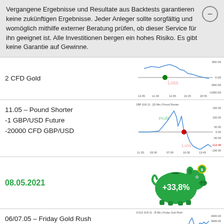Vergangene Ergebnisse und Resultate aus Backtests garantieren keine zukünftigen Ergebnisse. Jeder Anleger sollte sorgfältig und womöglich mithilfe externer Beratung prüfen, ob dieser Service für ihn geeignet ist. Alle Investitionen bergen ein hohes Risiko. Es gibt keine Garantie auf Gewinne.
2 CFD Gold
[Figure (continuous-plot): Line chart for CFD Gold trade, showing a loss position. X-axis: 13.05. 11:30, 14.05., 10:25, 20:55. Y-axis: 300.00 down to -1000.00. Green dot entry point, labeled Loss in red.]
11.05 – Pound Shorter
-1 GBP/USD Future
-20000 CFD GBP/USD
[Figure (continuous-plot): Line chart GBP JUN 21 [15 Min.] Pound Shorter. X-axis: 11.05. 03:30, 07:00, 10:30, 13:45. Y-axis: 150.00 to -150.00. Green label Profit, red label Loss. Red dot at 0 line around 07:00. Value -112.49 annotated.]
08.05.2021
[Figure (infographic): Green piggy bank icon with text +33,8% inside]
06/07.05 – Friday Gold Rush
5 Gold Micro-Futures
2 CFD Gold
[Figure (continuous-plot): Line chart GOLD JUN 21 [5 Min.] Friday Gold Rush. Y-axis: 4000.00, 3600.00, 1060.00, 1000.00, 0.00, -1000.00. Green dot entry. Profit label in green. Sharp rise visible.]